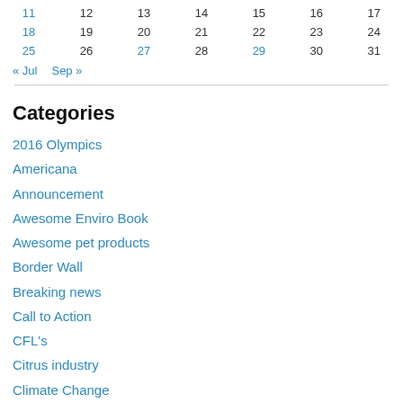| 11 | 12 | 13 | 14 | 15 | 16 | 17 |
| 18 | 19 | 20 | 21 | 22 | 23 | 24 |
| 25 | 26 | 27 | 28 | 29 | 30 | 31 |
« Jul   Sep »
Categories
2016 Olympics
Americana
Announcement
Awesome Enviro Book
Awesome pet products
Border Wall
Breaking news
Call to Action
CFL's
Citrus industry
Climate Change
composting